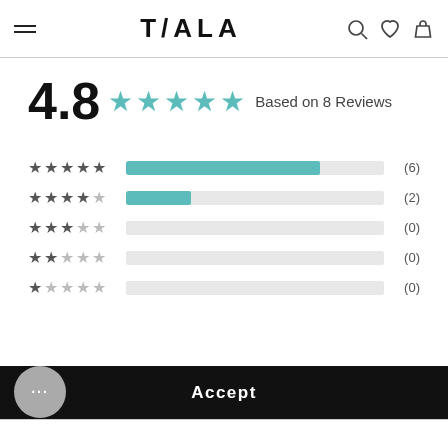TALA
4.8  Based on 8 Reviews
[Figure (bar-chart): Rating distribution]
We use cookies to store information and provide you with a better experience. By clicking “Accept”, you agree on our use of cookies. Learn more
Accept